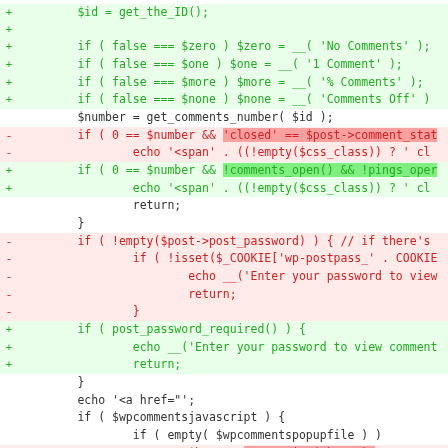[Figure (screenshot): A code diff view showing PHP code with red (deleted) and green (added) lines, some with highlighted spans indicating changed tokens. The code relates to WordPress comment functions including get_the_ID(), get_comments_number(), comment status checks, password protection, and comment link generation.]